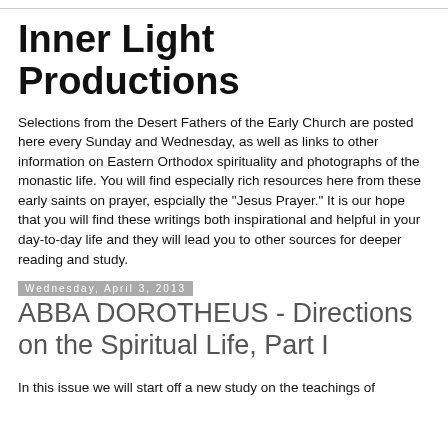Inner Light Productions
Selections from the Desert Fathers of the Early Church are posted here every Sunday and Wednesday, as well as links to other information on Eastern Orthodox spirituality and photographs of the monastic life. You will find especially rich resources here from these early saints on prayer, espcially the "Jesus Prayer." It is our hope that you will find these writings both inspirational and helpful in your day-to-day life and they will lead you to other sources for deeper reading and study.
Wednesday, April 3, 2013
ABBA DOROTHEUS - Directions on the Spiritual Life, Part I
In this issue we will start off a new study on the teachings of